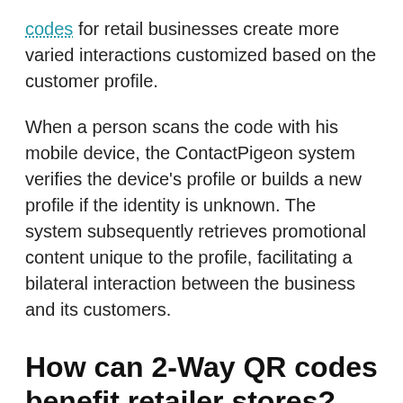codes for retail businesses create more varied interactions customized based on the customer profile.
When a person scans the code with his mobile device, the ContactPigeon system verifies the device’s profile or builds a new profile if the identity is unknown. The system subsequently retrieves promotional content unique to the profile, facilitating a bilateral interaction between the business and its customers.
How can 2-Way QR codes benefit retailer stores?